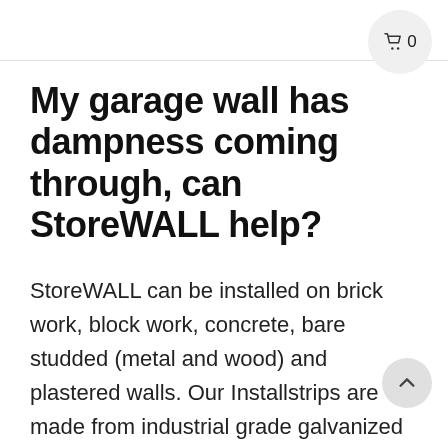[Figure (other): Shopping cart icon button with count '0' in top right corner, circular grey background]
My garage wall has dampness coming through, can StoreWALL help?
StoreWALL can be installed on brick work, block work, concrete, bare studded (metal and wood) and plastered walls. Our Installstrips are made from industrial grade galvanized steel and can be screwed onto your wall. The panels will then hang off the installstrips. These installstrips will not rust nor change shape due to the moisture
[Figure (other): Scroll-to-top button, circular grey background with upward chevron arrow]